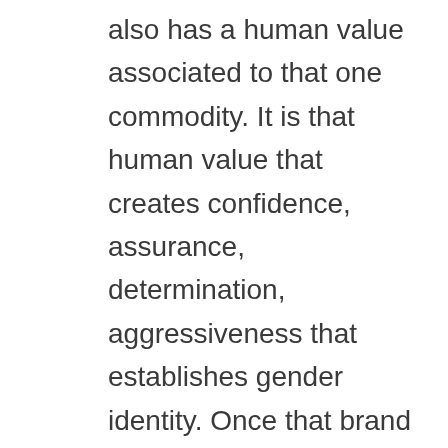also has a human value associated to that one commodity. It is that human value that creates confidence, assurance, determination, aggressiveness that establishes gender identity. Once that brand of identity is formulated, one then is free to mate and find a mate. Essay Question Explain this process in your life: What is your commodity? What, if any is the price tag? What is the human value, which you derive from your commodity? How does it form your gender identity? How does it create confidence? How does it create assurance in your life? How does it, the commodity create